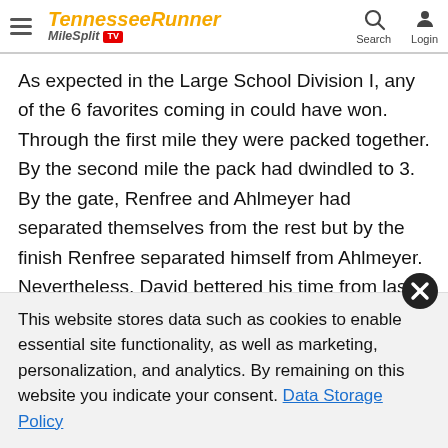TennesseeRunner MileSplit TV
As expected in the Large School Division I, any of the 6 favorites coming in could have won. Through the first mile they were packed together. By the second mile the pack had dwindled to 3. By the gate, Renfree and Ahlmeyer had separated themselves from the rest but by the finish Renfree separated himself from Ahlmeyer. Nevertheless, David bettered his time from last season by 15 seconds and improved upon his 3rd place finish in 2017 to finish 2nd. His time of 15:40 was also the second fastest time of the day across all classifications. David
This website stores data such as cookies to enable essential site functionality, as well as marketing, personalization, and analytics. By remaining on this website you indicate your consent. Data Storage Policy